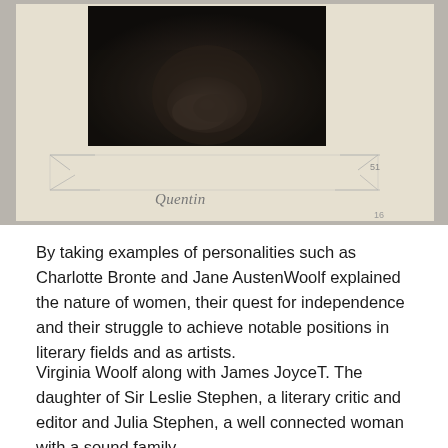[Figure (photo): A vintage black and white photograph mounted on aged paper/album page showing clasped hands, with corner mounting tabs visible. A handwritten signature reading 'Quentin' appears below the photograph along with a page number.]
By taking examples of personalities such as Charlotte Bronte and Jane AustenWoolf explained the nature of women, their quest for independence and their struggle to achieve notable positions in literary fields and as artists.
Virginia Woolf along with James JoyceT. The daughter of Sir Leslie Stephen, a literary critic and editor and Julia Stephen, a well connected woman with a sound family